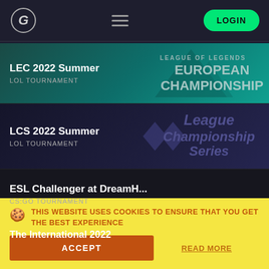Navigation bar with logo, hamburger menu, and LOGIN button
LEC 2022 Summer — LOL TOURNAMENT
LCS 2022 Summer — LOL TOURNAMENT
ESL Challenger at DreamH... — CS:GO TOURNAMENT
The International 2022
THIS WEBSITE USES COOKIES TO ENSURE THAT YOU GET THE BEST EXPERIENCE
ACCEPT
READ MORE